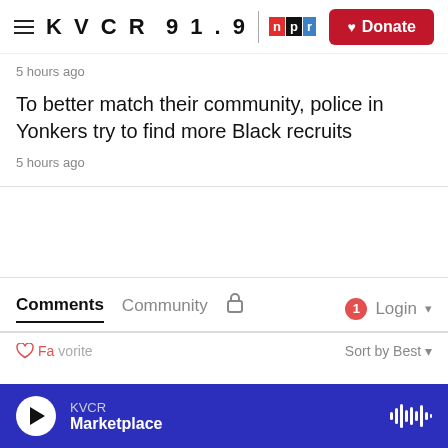KVCR 91.9 NPR — Donate
5 hours ago
To better match their community, police in Yonkers try to find more Black recruits
5 hours ago
Comments  Community  🔒  1  Login
Favorite   Sort by Best
KVCR  Marketplace